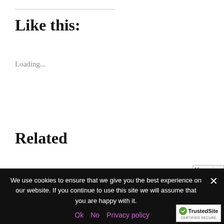Like this:
Loading...
Related
16 Of The Best Beard Products To Use In Every Step Of Your Grooming Routine (Updated)
[Figure (photo): Man using skincare]
We use cookies to ensure that we give you the best experience on our website. If you continue to use this site we will assume that you are happy with it.
Ok   No   Privacy policy
[Figure (logo): TrustedSite Certified Secure badge]